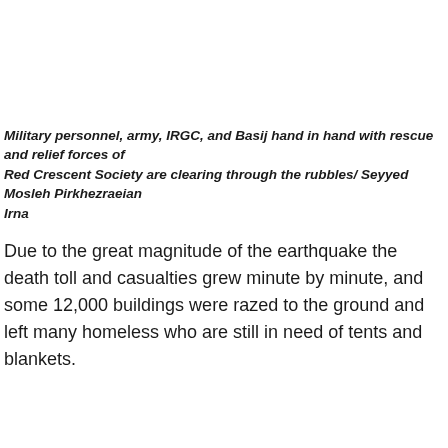Military personnel, army, IRGC, and Basij hand in hand with rescue and relief forces of Red Crescent Society are clearing through the rubbles/ Seyyed Mosleh Pirkhezraeian Irna
Due to the great magnitude of the earthquake the death toll and casualties grew minute by minute, and some 12,000 buildings were razed to the ground and left many homeless who are still in need of tents and blankets.